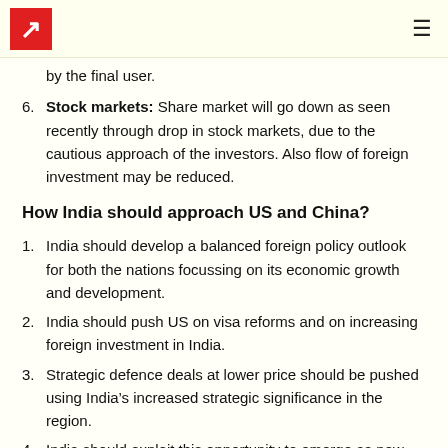by the final user.
Stock markets: Share market will go down as seen recently through drop in stock markets, due to the cautious approach of the investors. Also flow of foreign investment may be reduced.
How India should approach US and China?
India should develop a balanced foreign policy outlook for both the nations focussing on its economic growth and development.
India should push US on visa reforms and on increasing foreign investment in India.
Strategic defence deals at lower price should be pushed using India's increased strategic significance in the region.
India should exploit this opportunity to emerge as new